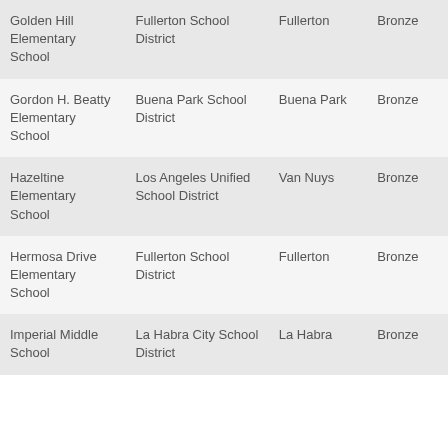| Golden Hill Elementary School | Fullerton School District | Fullerton | Bronze |
| Gordon H. Beatty Elementary School | Buena Park School District | Buena Park | Bronze |
| Hazeltine Elementary School | Los Angeles Unified School District | Van Nuys | Bronze |
| Hermosa Drive Elementary School | Fullerton School District | Fullerton | Bronze |
| Imperial Middle School | La Habra City School District | La Habra | Bronze |